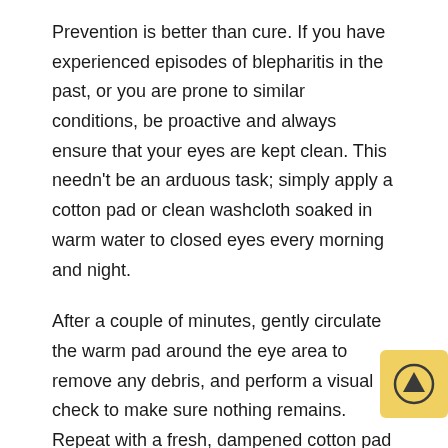Prevention is better than cure. If you have experienced episodes of blepharitis in the past, or you are prone to similar conditions, be proactive and always ensure that your eyes are kept clean. This needn't be an arduous task; simply apply a cotton pad or clean washcloth soaked in warm water to closed eyes every morning and night.
After a couple of minutes, gently circulate the warm pad around the eye area to remove any debris, and perform a visual check to make sure nothing remains. Repeat with a fresh, dampened cotton pad or washcloth if necessary. Don't forget to change the cotton pad or washcloth for each eye, to avoid cross-contamination of any present infections.